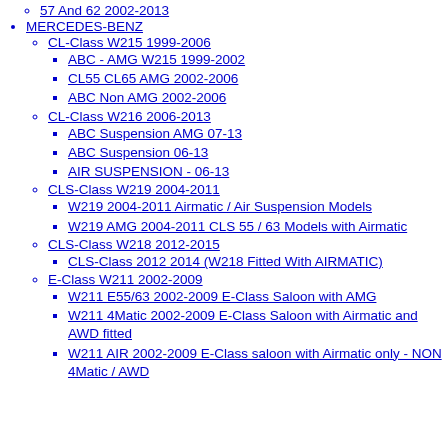57 And 62 2002-2013
MERCEDES-BENZ
CL-Class W215 1999-2006
ABC - AMG W215 1999-2002
CL55 CL65 AMG 2002-2006
ABC Non AMG 2002-2006
CL-Class W216 2006-2013
ABC Suspension AMG 07-13
ABC Suspension 06-13
AIR SUSPENSION - 06-13
CLS-Class W219 2004-2011
W219 2004-2011 Airmatic / Air Suspension Models
W219 AMG 2004-2011 CLS 55 / 63 Models with Airmatic
CLS-Class W218 2012-2015
CLS-Class 2012 2014 (W218 Fitted With AIRMATIC)
E-Class W211 2002-2009
W211 E55/63 2002-2009 E-Class Saloon with AMG
W211 4Matic 2002-2009 E-Class Saloon with Airmatic and AWD fitted
W211 AIR 2002-2009 E-Class saloon with Airmatic only - NON 4Matic / AWD